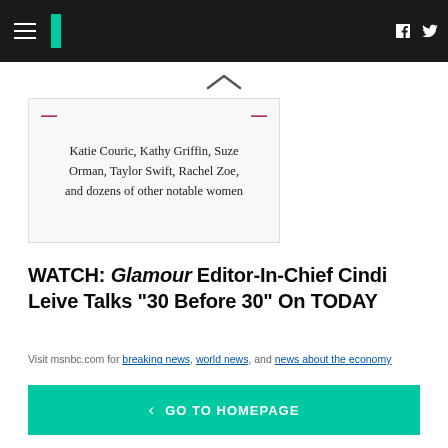HuffPost navigation bar with logo and social icons
[Figure (screenshot): Card with decorative dashes showing text: Katie Couric, Kathy Griffin, Suze Orman, Taylor Swift, Rachel Zoe, and dozens of other notable women]
WATCH: Glamour Editor-In-Chief Cindi Leive Talks "30 Before 30" On TODAY
Visit msnbc.com for breaking news, world news, and news about the economy
< GO TO HOMEPAGE